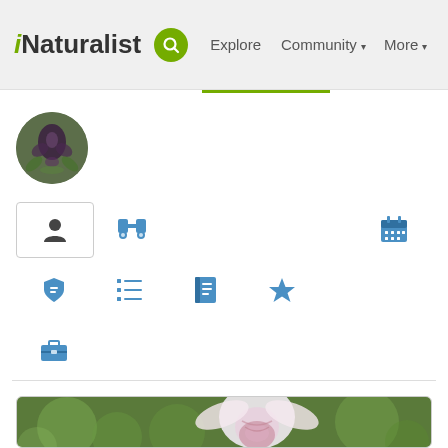iNaturalist  Explore  Community  More
[Figure (screenshot): iNaturalist user profile page showing navigation bar with logo, search icon, Explore, Community dropdown, More dropdown; green underline tab indicator; circular avatar with orchid/plant image; icon tabs for profile, binoculars, calendar, badge, list, notebook, star, briefcase; bottom photo card showing pink lady slipper orchid flower]